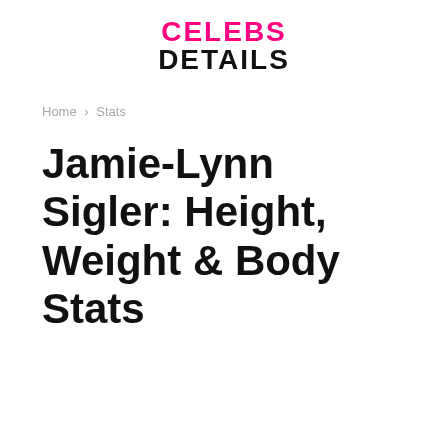CELEBS DETAILS
Home › Stats
Jamie-Lynn Sigler: Height, Weight & Body Stats